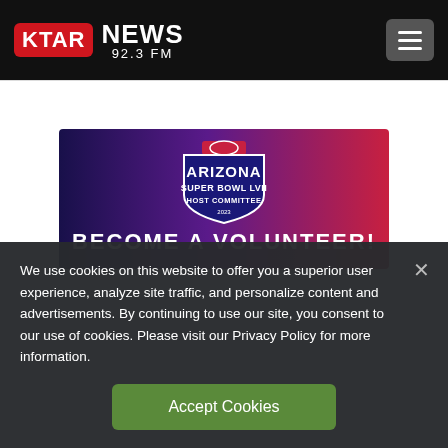KTAR NEWS 92.3 FM
[Figure (illustration): Arizona Super Bowl LVII Host Committee 2023 banner with gradient background (dark blue to red/pink), featuring the Arizona Super Bowl LVII Host Committee logo and text 'BECOME A VOLUNTEER!']
We use cookies on this website to offer you a superior user experience, analyze site traffic, and personalize content and advertisements. By continuing to use our site, you consent to our use of cookies. Please visit our Privacy Policy for more information.
Accept Cookies